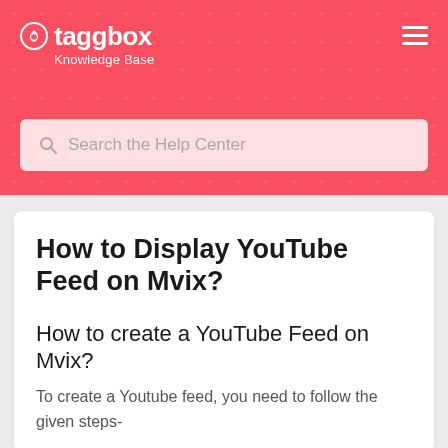taggbox Knowledge Base
[Figure (screenshot): Search bar with placeholder text 'Search the Help Center']
How to Display YouTube Feed on Mvix?
How to create a YouTube Feed on Mvix?
To create a Youtube feed, you need to follow the given steps-